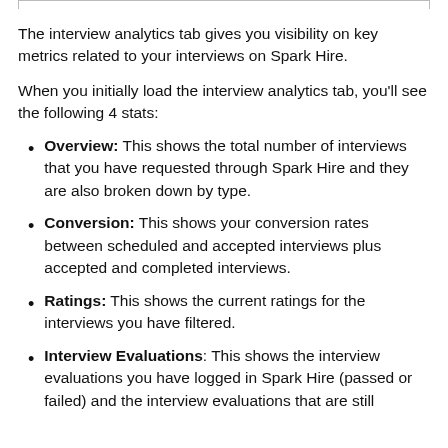The interview analytics tab gives you visibility on key metrics related to your interviews on Spark Hire.
When you initially load the interview analytics tab, you'll see the following 4 stats:
Overview: This shows the total number of interviews that you have requested through Spark Hire and they are also broken down by type.
Conversion: This shows your conversion rates between scheduled and accepted interviews plus accepted and completed interviews.
Ratings: This shows the current ratings for the interviews you have filtered.
Interview Evaluations: This shows the interview evaluations you have logged in Spark Hire (passed or failed) and the interview evaluations that are still